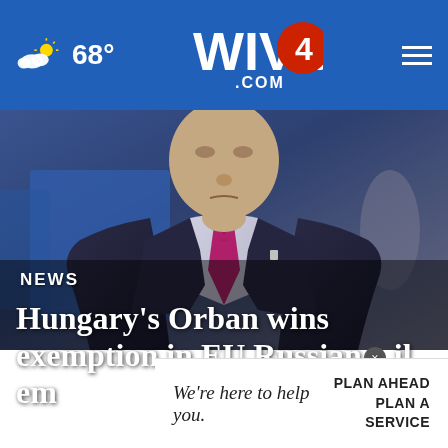68° WIVB4.COM
[Figure (photo): Man in dark suit with pink/magenta tie, torso visible, blurred blue background, appears to be a political figure at a formal event]
NEWS
Hungary's Orban wins exemption in EU Russian oil embargo
We're here to help you. PLAN AHEAD PLAN A SERVICE